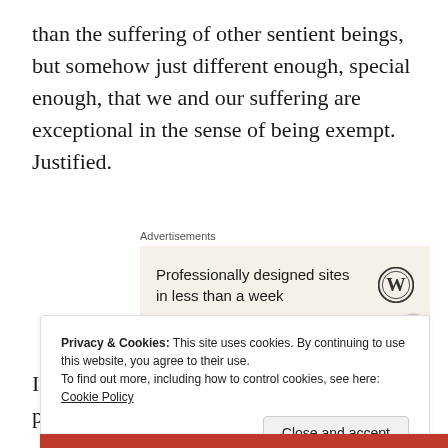than the suffering of other sentient beings, but somehow just different enough, special enough, that we and our suffering are exceptional in the sense of being exempt. Justified.
[Figure (other): WordPress advertisement box with text 'Professionally designed sites in less than a week' and WordPress logo on beige background]
I do not mean to blame the victim. You probably did
Privacy & Cookies: This site uses cookies. By continuing to use this website, you agree to their use. To find out more, including how to control cookies, see here: Cookie Policy
Close and accept